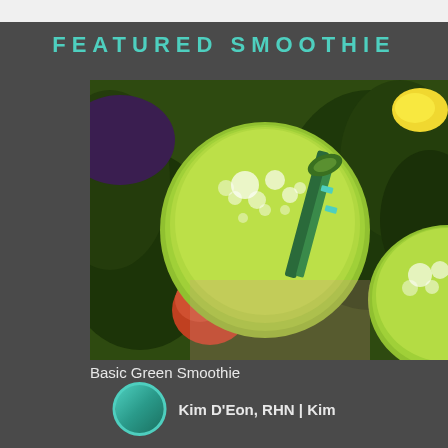FEATURED SMOOTHIE
[Figure (photo): Overhead photo of two glasses of green smoothie surrounded by kale leaves, an apple, and a lemon wedge on a wooden surface. One glass has a striped straw.]
Basic Green Smoothie
Kim D'Eon, RHN | Kim